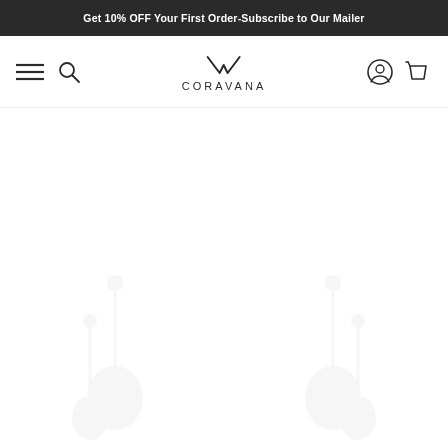Get 10% OFF Your First Order-Subscribe to Our Mailer
[Figure (logo): Coravana brand logo with stylized V/checkmark symbol above the text CORAVANA]
[Figure (screenshot): Website navigation bar with hamburger menu, search icon, Coravana logo centered, user account icon, and shopping basket icon on the right]